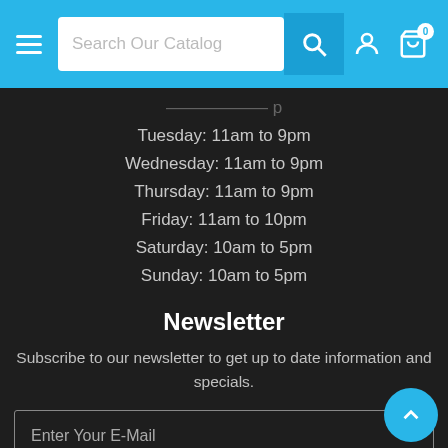Search Our Catalog [nav bar with search, user, cart icons]
Tuesday: 11am to 9pm
Wednesday: 11am to 9pm
Thursday: 11am to 9pm
Friday: 11am to 10pm
Saturday: 10am to 5pm
Sunday: 10am to 5pm
Newsletter
Subscribe to our newsletter to get up to date information and specials.
Enter Your E-Mail
SUBSCRIBE